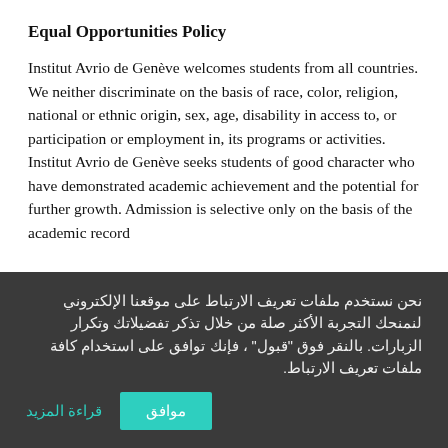Equal Opportunities Policy
Institut Avrio de Genève welcomes students from all countries. We neither discriminate on the basis of race, color, religion, national or ethnic origin, sex, age, disability in access to, or participation or employment in, its programs or activities. Institut Avrio de Genève seeks students of good character who have demonstrated academic achievement and the potential for further growth. Admission is selective only on the basis of the academic record
نحن نستخدم ملفات تعريف الارتباط على موقعنا الإلكتروني لنمنحك التجربة الأكثر صلة من خلال تذكر تفضيلاتك وتكرار الزبارات. بالنقر فوق "قبول" ، فإنك توافق على استخدام كافة ملفات تعريف الارتباط.
موافق
قراءة المزيد